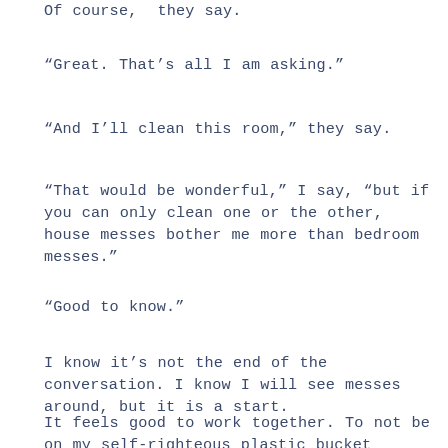Of course," they say.
“Great. That’s all I am asking.”
“And I’ll clean this room,” they say.
“That would be wonderful,” I say, “but if you can only clean one or the other, house messes bother me more than bedroom messes.”
“Good to know.”
I know it’s not the end of the conversation. I know I will see messes around, but it is a start.
It feels good to work together. To not be on my self-righteous plastic bucket looking down on